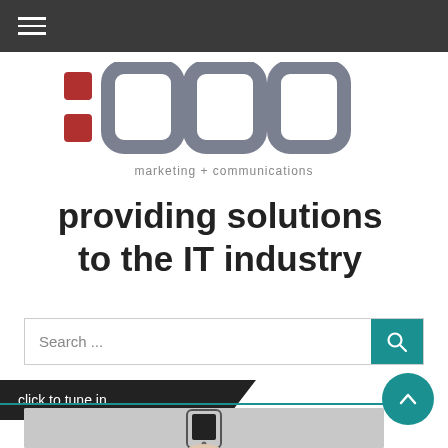Navigation bar with hamburger menu
[Figure (logo): OUO marketing + communications logo with red dots and grey rounded square letterforms]
providing solutions to the IT industry
Search ...
click to tune in
[Figure (photo): Hand holding a white smartphone against grey background]